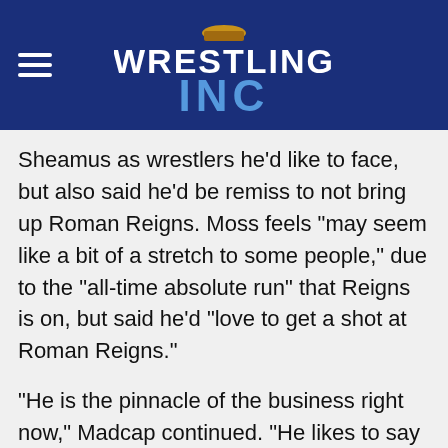Wrestling Inc
Sheamus as wrestlers he'd like to face, but also said he'd be remiss to not bring up Roman Reigns. Moss feels "may seem like a bit of a stretch to some people," due to the "all-time absolute run" that Reigns is on, but said he'd "love to get a shot at Roman Reigns."
"He is the pinnacle of the business right now," Madcap continued. "He likes to say he's in 'God Mode' and it's hard to disagree with him," referring to Reigns recent claims that he is in "Greatness On Different levels" mode. "It's just unbelievable what he's done over the past 8-10 years, but specifically in the last few"...